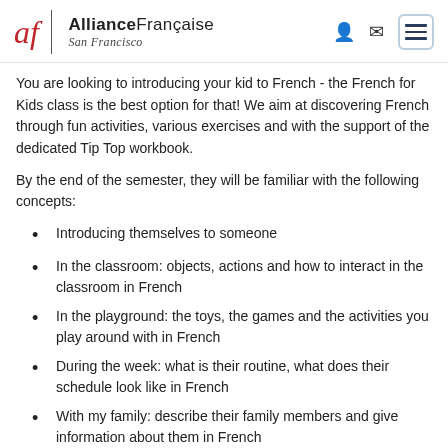Alliance Française San Francisco
You are looking to introducing your kid to French - the French for Kids class is the best option for that! We aim at discovering French through fun activities, various exercises and with the support of the dedicated Tip Top workbook.
By the end of the semester, they will be familiar with the following concepts:
Introducing themselves to someone
In the classroom: objects, actions and how to interact in the classroom in French
In the playground: the toys, the games and the activities you play around with in French
During the week: what is their routine, what does their schedule look like in French
With my family: describe their family members and give information about them in French